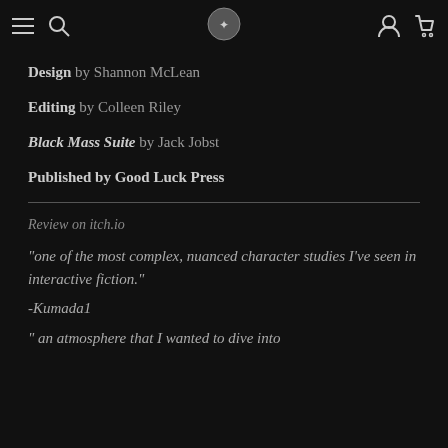Navigation header with menu, search, logo, account, and cart icons
Design by Shannon McLean
Editing by Colleen Riley
Black Mass Suite by Jack Jobst
Published by Good Luck Press
Review on itch.io
"one of the most complex, nuanced character studies I've seen in interactive fiction."
-Kumada1
" an atmosphere that I wanted to dive into